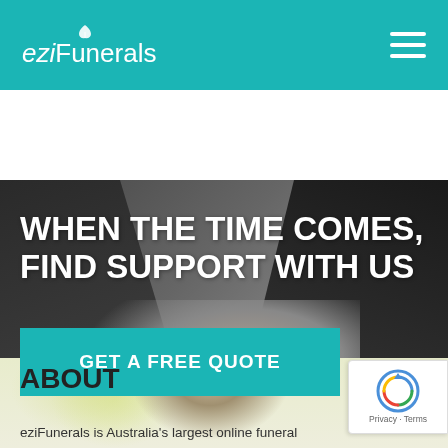[Figure (logo): eziFunerals logo with white text and small leaf/heart icon above, on teal background header with hamburger menu icon on right]
[Figure (photo): Hero image showing two people in dark business suits shaking hands, with large white bold headline text overlay reading WHEN THE TIME COMES, FIND SUPPORT WITH US and a teal CTA button GET A FREE QUOTE]
WHEN THE TIME COMES, FIND SUPPORT WITH US
GET A FREE QUOTE
ABOUT
eziFunerals is Australia's largest online funeral